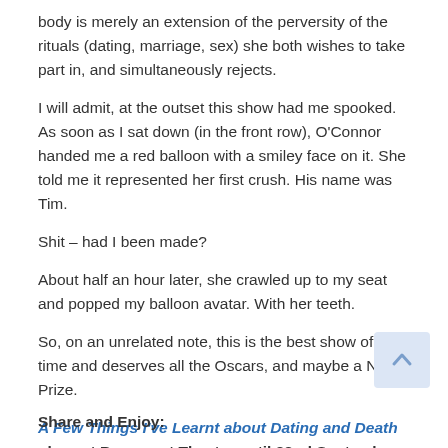body is merely an extension of the perversity of the rituals (dating, marriage, sex) she both wishes to take part in, and simultaneously rejects.
I will admit, at the outset this show had me spooked. As soon as I sat down (in the front row), O'Connor handed me a red balloon with a smiley face on it. She told me it represented her first crush. His name was Tim.
Shit – had I been made?
About half an hour later, she crawled up to my seat and popped my balloon avatar. With her teeth.
So, on an unrelated note, this is the best show of all time and deserves all the Oscars, and maybe a Nobel Prize.
A Few Things I've Learnt about Dating and Death plays at Basement Theatre until 22nd September.
Share and Enjoy: